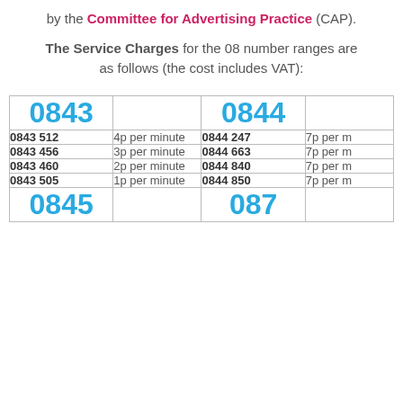by the Committee for Advertising Practice (CAP).
The Service Charges for the 08 number ranges are as follows (the cost includes VAT):
| 0843 |  | 0844 |  |
| --- | --- | --- | --- |
| 0843 512 | 4p per minute | 0844 247 | 7p per minute |
| 0843 456 | 3p per minute | 0844 663 | 7p per minute |
| 0843 460 | 2p per minute | 0844 840 | 7p per minute |
| 0843 505 | 1p per minute | 0844 850 | 7p per minute |
| 0845 |  | 087 |  |